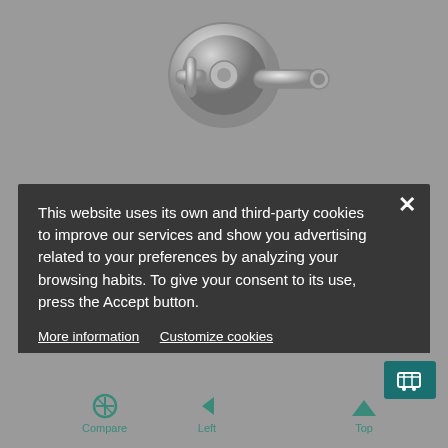[Figure (screenshot): Gray background with chrome faucet/tap hardware visible at top, partially obscured by modal dialog overlay]
This website uses its own and third-party cookies to improve our services and show you advertising related to your preferences by analyzing your browsing habits. To give your consent to its use, press the Accept button.
More information   Customize cookies
REJECT ALL
I ACCEPT
[Figure (screenshot): Bottom navigation bar with Compare, Left, Top icons and a teal shopping cart button]